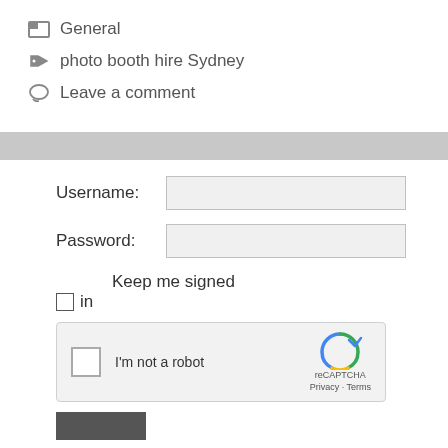General
photo booth hire Sydney
Leave a comment
[Figure (screenshot): Login form with Username and Password fields, Keep me signed in checkbox, reCAPTCHA widget, and a scroll-to-top button]
Username:
Password:
Keep me signed in
I'm not a robot